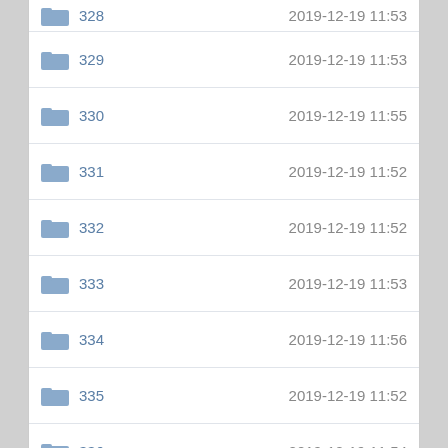328  2019-12-19 11:53
329  2019-12-19 11:53
330  2019-12-19 11:55
331  2019-12-19 11:52
332  2019-12-19 11:52
333  2019-12-19 11:53
334  2019-12-19 11:56
335  2019-12-19 11:52
336  2019-12-19 11:54
337  2019-12-19 11:53
338  2019-12-19 11:55
339  2019-12-19 11:52
excel  2018-08-21 09:19